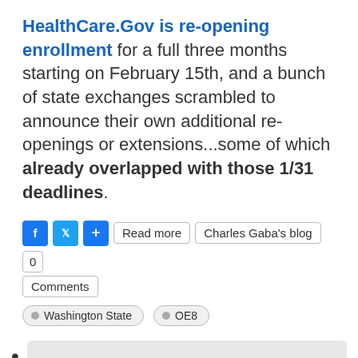HealthCare.Gov is re-opening enrollment for a full three months starting on February 15th, and a bunch of state exchanges scrambled to announce their own additional re-openings or extensions...some of which already overlapped with those 1/31 deadlines.
Read more  Charles Gaba's blog  0 Comments
Washington State  OE8
ACA 2.0: What's The MOST You Could Save Under #HR369?